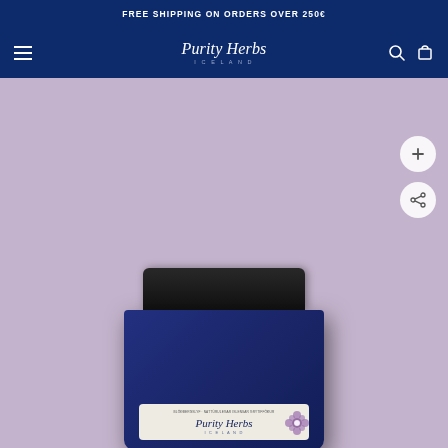FREE SHIPPING ON ORDERS OVER 250€
[Figure (logo): Purity Herbs Iceland logo in white italic script with subtitle ICELAND in spaced caps, centered in dark navy navigation bar with hamburger menu on left and search/cart icons on right]
[Figure (photo): A dark navy blue jar with black lid containing Purity Herbs Iceland product, shown against a soft lavender/mauve background with zoom and share circular buttons on the right side]